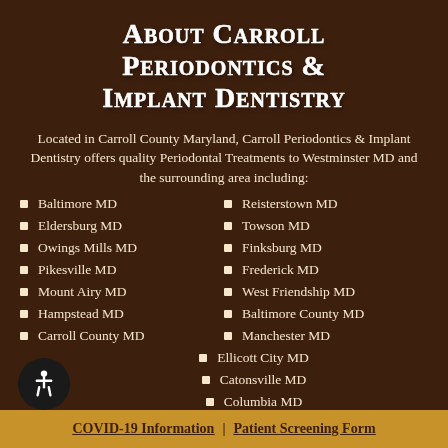About Carroll Periodontics & Implant Dentistry
Located in Carroll County Maryland, Carroll Periodontics & Implant Dentistry offers quality Periodontal Treatments to Westminster MD and the surrounding area including:
Baltimore MD
Eldersburg MD
Owings Mills MD
Pikesville MD
Mount Airy MD
Hampstead MD
Carroll County MD
Reisterstown MD
Towson MD
Finksburg MD
Frederick MD
West Friendship MD
Baltimore County MD
Manchester MD
Ellicott City MD
Catonsville MD
Columbia MD
COVID-19 Information | Patient Screening Form